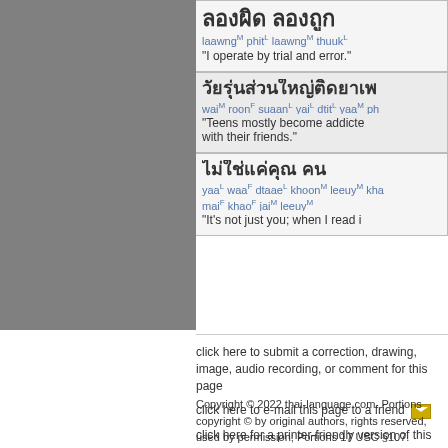[Figure (illustration): Gray rectangle placeholder image on left side]
ลอง ผิด ลอง ถูก laawngM phitL laawngM thuukL "I operate by trial and error."
วัยรุ่นส่วนใหญ่ติดยา... waiM roonF suaanL yaiL dtitL yaaM ph... "Teens mostly become addicted... with their friends."
ไม่ใช่แค่คุณ... yaaL waaF dtaaeLkhoonM leeuyM kha... maiF khaoF jaiM leeuyM "It's not just you; when I read i..."
click here to submit a correction, drawing, image, audio recording, or comment for this page
click here to e-mail this page to a friend
click here for a printer-friendly version of this page
Copyright © 2022 thai-language.com. Portions copyright © by original authors, rights reserved, used by permission; Portions 17 USC §107.